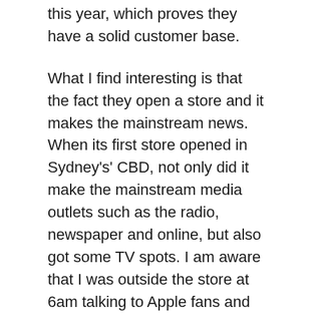this year, which proves they have a solid customer base.
What I find interesting is that the fact they open a store and it makes the mainstream news. When its first store opened in Sydney's' CBD, not only did it make the mainstream media outlets such as the radio, newspaper and online, but also got some TV spots. I am aware that I was outside the store at 6am talking to Apple fans and conducting a live cross for Channel 9's Today Show. However when you think about it, how many other store openings make such a headline, and why is it even news?
The question is rhetorical. I know why. Steve Jobs is a very smart man. First, he has branded his products not only to look smart and engaging, but he also tries to make sure that they are at the leading edge of technology. The original iPod and iPhones are examples of Apple being one step ahead of the rest. Second, and